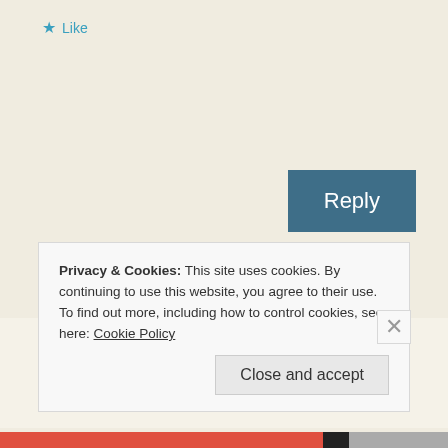★ Like
Reply
Lata Wadhwani
March 14, 2015 at 8:24 am
Thanks Lata and thanks for your
Privacy & Cookies: This site uses cookies. By continuing to use this website, you agree to their use.
To find out more, including how to control cookies, see here: Cookie Policy
Close and accept